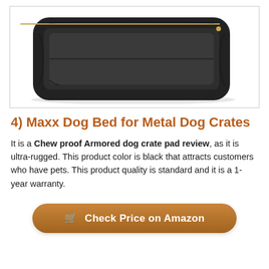[Figure (photo): A dark grey/black rectangular dog crate mat/bed pad with raised bolster edges and a small gold accent, photographed on a white background.]
4) Maxx Dog Bed for Metal Dog Crates
It is a Chew proof Armored dog crate pad review, as it is ultra-rugged. This product color is black that attracts customers who have pets. This product quality is standard and it is a 1-year warranty.
Check Price on Amazon